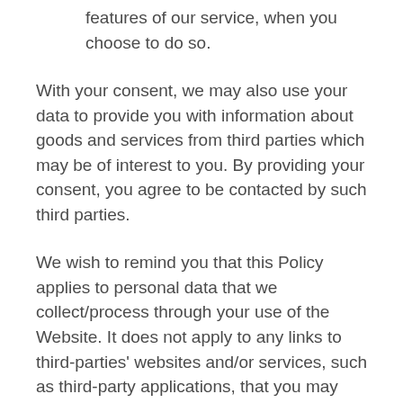features of our service, when you choose to do so.
With your consent, we may also use your data to provide you with information about goods and services from third parties which may be of interest to you. By providing your consent, you agree to be contacted by such third parties.
We wish to remind you that this Policy applies to personal data that we collect/process through your use of the Website. It does not apply to any links to third-parties' websites and/or services, such as third-party applications, that you may encounter when you use the Website. You acknowledge that the service that we provide may enable or assist you to access the website content of